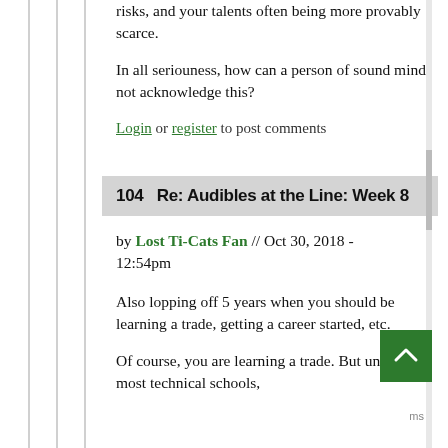risks, and your talents often being more provably scarce.
In all seriouness, how can a person of sound mind not acknowledge this?
Login or register to post comments
104   Re: Audibles at the Line: Week 8
by Lost Ti-Cats Fan // Oct 30, 2018 - 12:54pm
Also lopping off 5 years when you should be learning a trade, getting a career started, etc.
Of course, you are learning a trade. But unlike most technical schools,